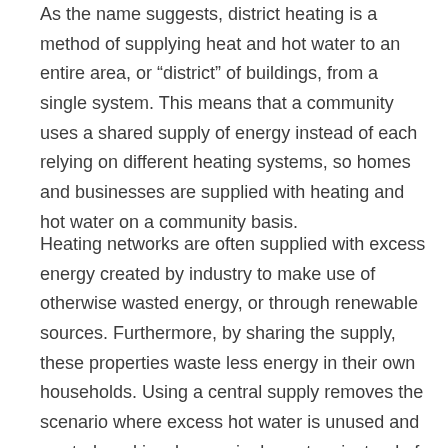As the name suggests, district heating is a method of supplying heat and hot water to an entire area, or “district” of buildings, from a single system. This means that a community uses a shared supply of energy instead of each relying on different heating systems, so homes and businesses are supplied with heating and hot water on a community basis.
Heating networks are often supplied with excess energy created by industry to make use of otherwise wasted energy, or through renewable sources. Furthermore, by sharing the supply, these properties waste less energy in their own households. Using a central supply removes the scenario where excess hot water is unused and wasted, and involves a single system instead of mutiple boilers heating up in various locations.